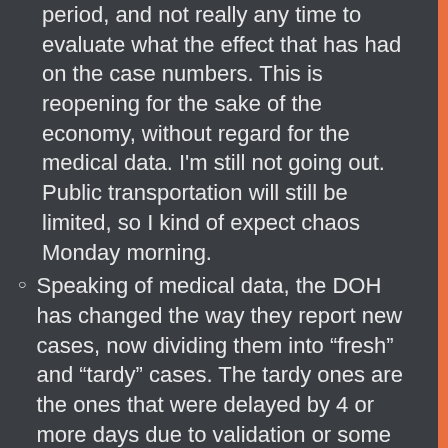period, and not really any time to evaluate what the effect that has had on the case numbers. This is reopening for the sake of the economy, without regard for the medical data. I'm still not going out. Public transportation will still be limited, so I kind of expect chaos Monday morning.
Speaking of medical data, the DOH has changed the way they report new cases, now dividing them into “fresh” and “tardy” cases. The tardy ones are the ones that were delayed by 4 or more days due to validation or some other reason. This seems like propaganda to make things seem not so bad, especially since there have been an explosion of cases in the past few days, probably as a result of lowering restrictions.
Watched mass via Facebook again today